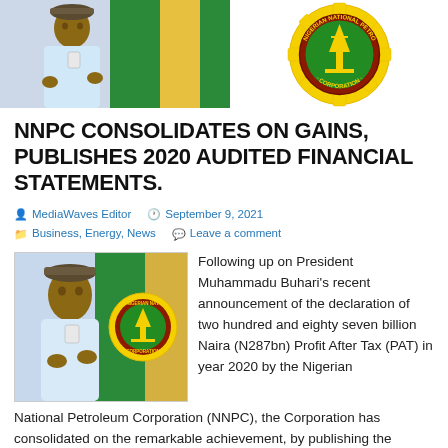[Figure (photo): Top banner with a photo of a man (likely NNPC official) on the left and NNPC gear logo on the right]
NNPC CONSOLIDATES ON GAINS, PUBLISHES 2020 AUDITED FINANCIAL STATEMENTS.
MediaWaves Editor   September 9, 2021   Business, Energy, News   Leave a comment
[Figure (photo): Photo of a man (NNPC official) gesturing on the left and NNPC logo on the right]
Following up on President Muhammadu Buhari's recent announcement of the declaration of two hundred and eighty seven billion Naira (N287bn) Profit After Tax (PAT) in year 2020 by the Nigerian National Petroleum Corporation (NNPC), the Corporation has consolidated on the remarkable achievement, by publishing the